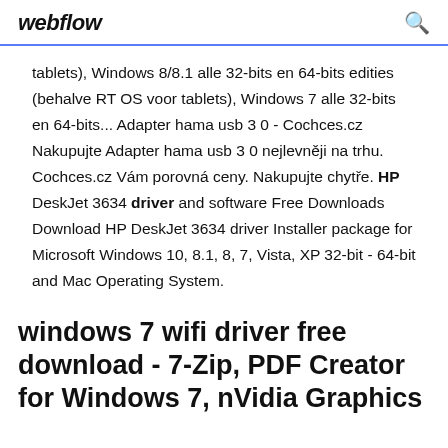webflow
tablets), Windows 8/8.1 alle 32-bits en 64-bits edities (behalve RT OS voor tablets), Windows 7 alle 32-bits en 64-bits... Adapter hama usb 3 0 - Cochces.cz Nakupujte Adapter hama usb 3 0 nejlevněji na trhu. Cochces.cz Vám porovná ceny. Nakupujte chytře. HP DeskJet 3634 driver and software Free Downloads Download HP DeskJet 3634 driver Installer package for Microsoft Windows 10, 8.1, 8, 7, Vista, XP 32-bit - 64-bit and Mac Operating System.
windows 7 wifi driver free download - 7-Zip, PDF Creator for Windows 7, nVidia Graphics